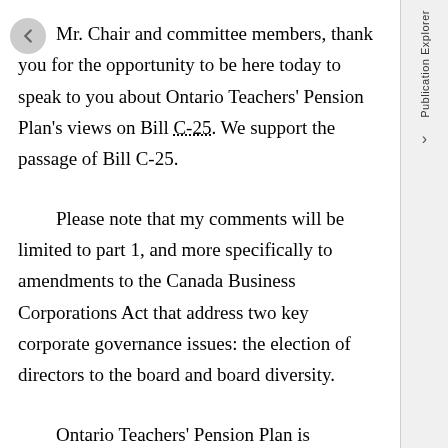Mr. Chair and committee members, thank you for the opportunity to be here today to speak to you about Ontario Teachers' Pension Plan's views on Bill C-25. We support the passage of Bill C-25.
Please note that my comments will be limited to part 1, and more specifically to amendments to the Canada Business Corporations Act that address two key corporate governance issues: the election of directors to the board and board diversity.
Ontario Teachers' Pension Plan is Canada's largest single-profession pension plan, managing, as of our last audited annual report, over $171 billion of assets that provide retirement security for 316,000 active and retired